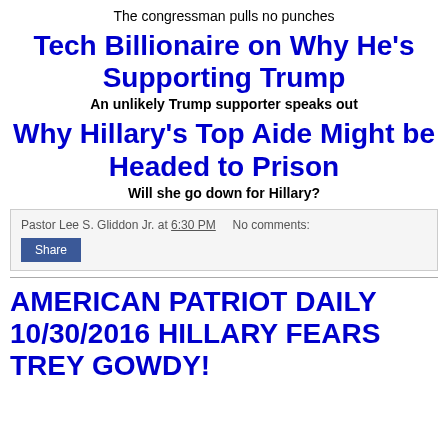The congressman pulls no punches
Tech Billionaire on Why He's Supporting Trump
An unlikely Trump supporter speaks out
Why Hillary's Top Aide Might be Headed to Prison
Will she go down for Hillary?
Pastor Lee S. Gliddon Jr. at 6:30 PM   No comments:
Share
AMERICAN PATRIOT DAILY 10/30/2016 HILLARY FEARS TREY GOWDY!